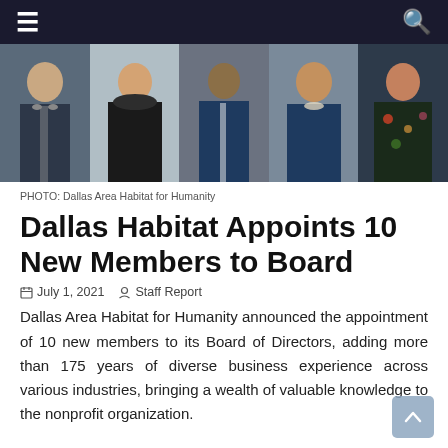Navigation bar with menu and search icons
[Figure (photo): A horizontal strip of five professional portrait photos of people against various backgrounds.]
PHOTO: Dallas Area Habitat for Humanity
Dallas Habitat Appoints 10 New Members to Board
July 1, 2021   Staff Report
Dallas Area Habitat for Humanity announced the appointment of 10 new members to its Board of Directors, adding more than 175 years of diverse business experience across various industries, bringing a wealth of valuable knowledge to the nonprofit organization.